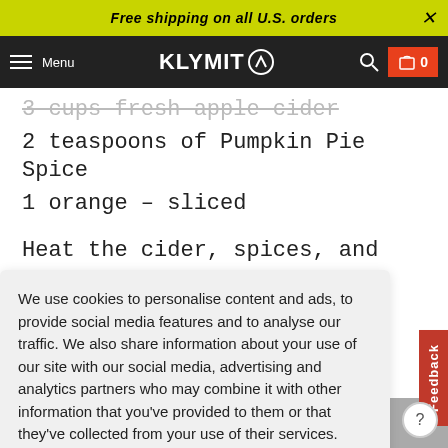Free shipping on all U.S. orders
Menu  KLYMIT  0
3 cups fresh apple cider
2 teaspoons of Pumpkin Pie Spice
1 orange – sliced
Heat the cider, spices, and orange slices in a pot.
We use cookies to personalise content and ads, to provide social media features and to analyse our traffic. We also share information about your use of our site with our social media, advertising and analytics partners who may combine it with other information that you've provided to them or that they've collected from your use of their services. Learn more
Got it!